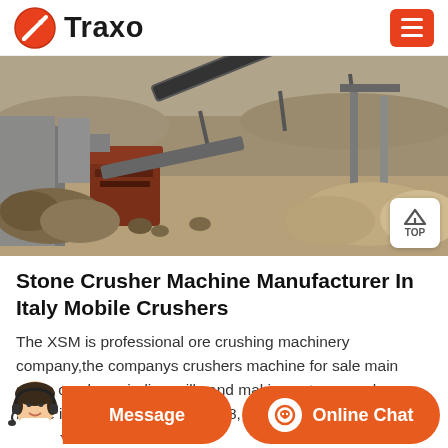Traxo
[Figure (photo): Outdoor stone crushing plant with conveyor belts, crusher machinery, and piles of rocks and gravel.]
Stone Crusher Machine Manufacturer In Italy Mobile Crushers
The XSM is professional ore crushing machinery company,the companys crushers machine for sale main stone crusher,grinding mill,sand making . stone crusher made in italy SlideShare. Apr 08, 2015 BinQ Mining Equipment stone